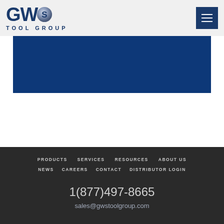[Figure (logo): GWS Tool Group logo with stylized S sphere graphic and text TOOL GROUP below]
[Figure (other): Dark navy blue rectangular banner area]
PRODUCTS
SERVICES
RESOURCES
ABOUT US
NEWS
CAREERS
CONTACT
DISTRIBUTOR LOGIN
1(877)497-8665
sales@gwstoolgroup.com